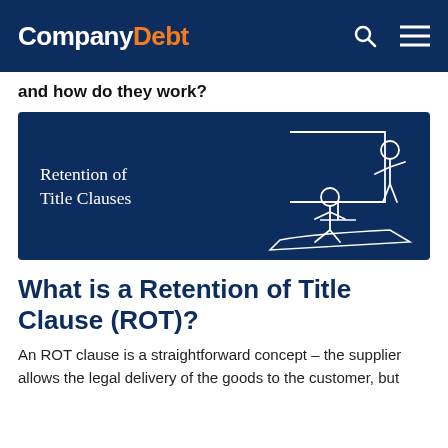CompanyDebt
and how do they work?
[Figure (illustration): Banner image with dark navy background showing 'Retention of Title Clauses' text and a line-art illustration of two people at a desk with a presentation screen]
What is a Retention of Title Clause (ROT)?
An ROT clause is a straightforward concept – the supplier allows the legal delivery of the goods to the customer, but